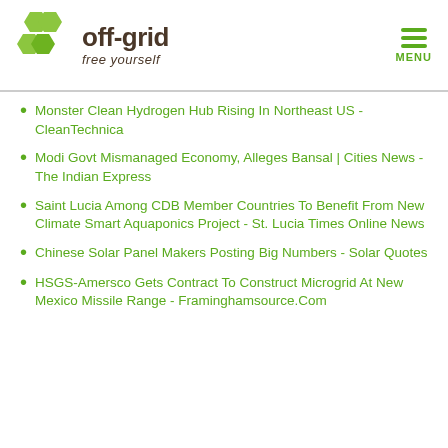off-grid free yourself
Monster Clean Hydrogen Hub Rising In Northeast US - CleanTechnica
Modi Govt Mismanaged Economy, Alleges Bansal | Cities News - The Indian Express
Saint Lucia Among CDB Member Countries To Benefit From New Climate Smart Aquaponics Project - St. Lucia Times Online News
Chinese Solar Panel Makers Posting Big Numbers - Solar Quotes
HSGS-Amersco Gets Contract To Construct Microgrid At New Mexico Missile Range - Framinghamsource.Com